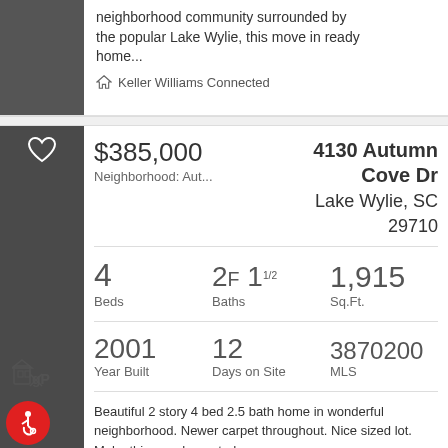neighborhood community surrounded by the popular Lake Wylie, this move in ready home...
Keller Williams Connected
$385,000
Neighborhood: Aut...
4130 Autumn Cove Dr Lake Wylie, SC 29710
4 Beds
2F 11/2 Baths
1,915 Sq.Ft.
2001 Year Built
12 Days on Site
3870200 MLS
Beautiful 2 story 4 bed 2.5 bath home in wonderful neighborhood. Newer carpet throughout. Nice sized lot. Make this your home today...